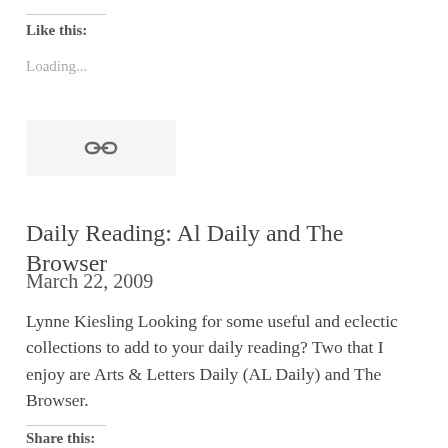Like this:
Loading...
[Figure (other): Link/chain icon button in a light gray rounded rectangle]
Daily Reading: Al Daily and The Browser
March 22, 2009
Lynne Kiesling Looking for some useful and eclectic collections to add to your daily reading? Two that I enjoy are Arts & Letters Daily (AL Daily) and The Browser.
Share this: